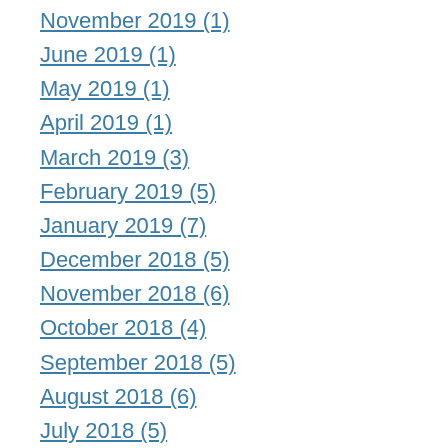November 2019 (1)
June 2019 (1)
May 2019 (1)
April 2019 (1)
March 2019 (3)
February 2019 (5)
January 2019 (7)
December 2018 (5)
November 2018 (6)
October 2018 (4)
September 2018 (5)
August 2018 (6)
July 2018 (5)
June 2018 (6)
May 2018 (6)
April 2018 (9)
March 2018 (11)